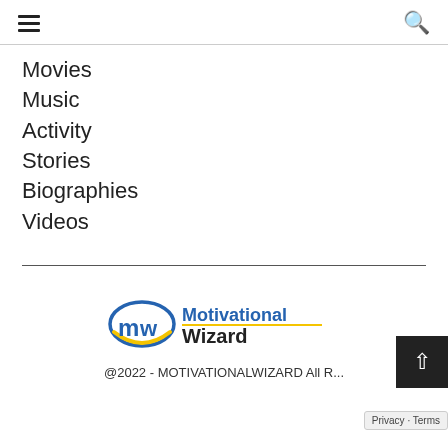☰  🔍
Movies
Music
Activity
Stories
Biographies
Videos
[Figure (logo): Motivational Wizard logo with stylized MW letters and arc, text reading 'Motivational Wizard']
@2022 - MOTIVATIONALWIZARD All R...